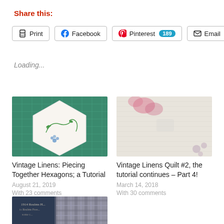Share this:
Print  Facebook  Pinterest 189  Email
Loading...
[Figure (photo): Close-up of white hexagonal quilt piece with embroidered green vines and blue flowers on a green cutting mat]
Vintage Linens: Piecing Together Hexagons; a Tutorial
August 21, 2019
With 23 comments
[Figure (photo): Close-up of white/cream linen fabric with faint pink and purple floral prints or stains]
Vintage Linens Quilt #2, the tutorial continues – Part 4!
March 14, 2018
With 30 comments
[Figure (photo): Partial view of quilting book or pattern with plaid/checkered fabric, partially cropped at bottom of page]